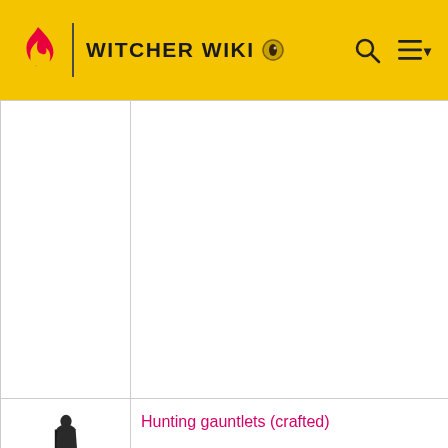WITCHER WIKI
|  | Name | Campaign |  |
| --- | --- | --- | --- |
|  |  |  |  |
| [icon] | Hunting gauntlets (crafted) | Main campaign | A |